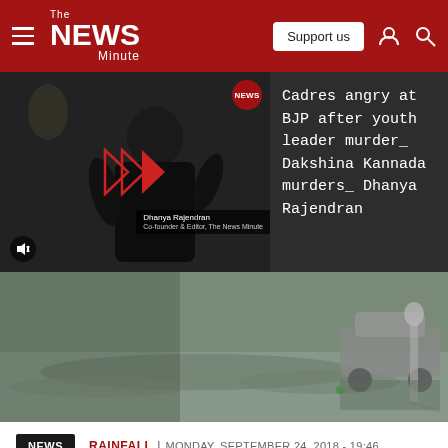The News Minute — Support us
[Figure (screenshot): Video thumbnail showing Dhanya Rajendran with play button overlay and article title: Cadres angry at BJP after youth leader murder_ Dakshina Kannada murders_ Dhanya Rajendran]
[Figure (photo): Flood scene showing waterlogged area with a car and person with broom visible]
NEWS  RAINFALL |  MONDAY, SEPTEMBER 24, 2018 - 19:46
Soumya Chatterjee   Follow @CSoumya21